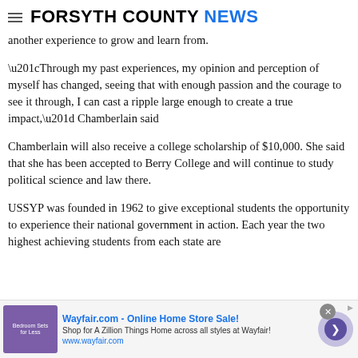FORSYTH COUNTY NEWS
another experience to grow and learn from.
“Through my past experiences, my opinion and perception of myself has changed, seeing that with enough passion and the courage to see it through, I can cast a ripple large enough to create a true impact,” Chamberlain said
Chamberlain will also receive a college scholarship of $10,000. She said that she has been accepted to Berry College and will continue to study political science and law there.
USSYP was founded in 1962 to give exceptional students the opportunity to experience their national government in action. Each year the two highest achieving students from each state are
[Figure (infographic): Wayfair.com advertisement banner: Online Home Store Sale! Shop for A Zillion Things Home across all styles at Wayfair! www.wayfair.com. Contains a bedroom furniture image and a navigation arrow button.]